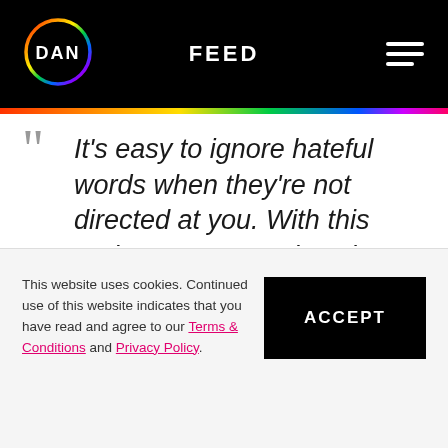FEED
It's easy to ignore hateful words when they're not directed at you. With this project, we wanted to share stories from people who are targeted and demonstrate the real impact of hateful speech. We also want people to know they are loved and accepted regardless of their identity. In addition to combatting
This website uses cookies. Continued use of this website indicates that you have read and agree to our Terms & Conditions and Privacy Policy.